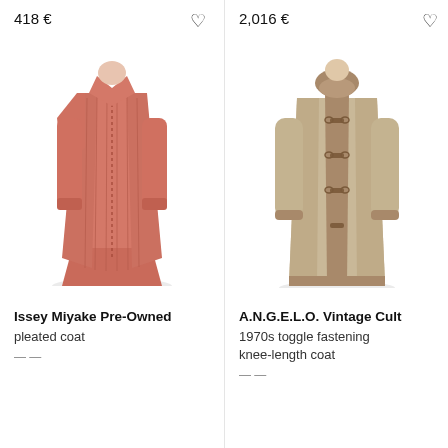418 €
2,016 €
[Figure (photo): Issey Miyake Pre-Owned pink pleated coat on white background]
[Figure (photo): A.N.G.E.L.O. Vintage Cult 1970s beige toggle fastening knee-length coat with fur trim, on white background]
Issey Miyake Pre-Owned
pleated coat
A.N.G.E.L.O. Vintage Cult
1970s toggle fastening knee-length coat